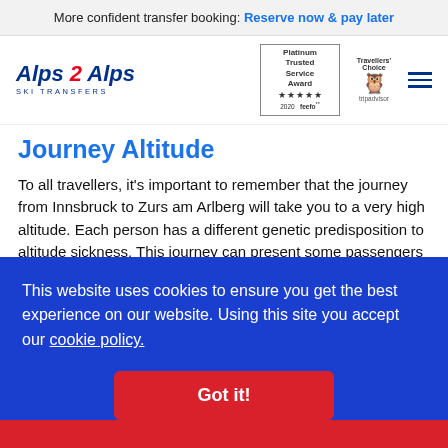More confident transfer booking: Reserve now & pay later
[Figure (logo): Alps2Alps Ski Transfers logo with Feefo Platinum Trusted Service Award 2020, Tripadvisor Travellers Choice badge, and hamburger menu icon]
Journey Altitude
To all travellers, it's important to remember that the journey from Innsbruck to Zurs am Arlberg will take you to a very high altitude. Each person has a different genetic predisposition to altitude sickness. This journey can present some passengers with mild discomfort.
Innsbruck airport sits at 580m, while Zurs am Arlberg sits at an
This website uses cookies to ensure you get the best experience on our website. Using this site you accept our cookie policy.
Got it!